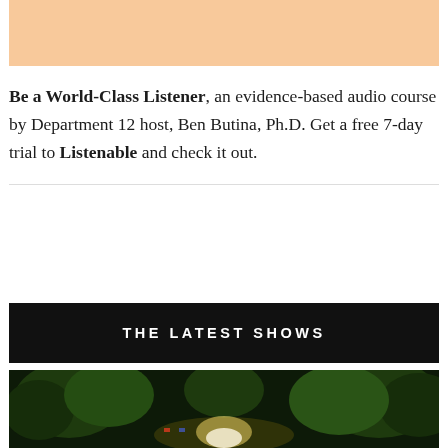[Figure (other): Peach/light orange banner at the top of the page]
Be a World-Class Listener, an evidence-based audio course by Department 12 host, Ben Butina, Ph.D. Get a free 7-day trial to Listenable and check it out.
THE LATEST SHOWS
[Figure (photo): Nighttime outdoor scene with illuminated trees and lights from what appears to be an event or emergency scene]